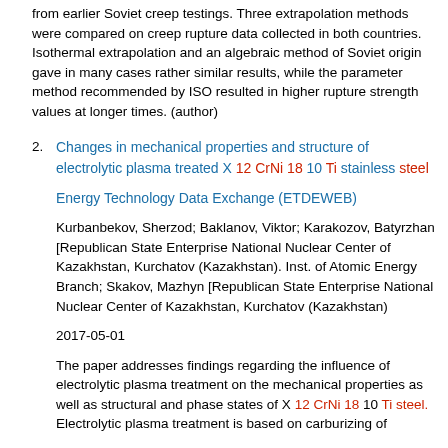from earlier Soviet creep testings. Three extrapolation methods were compared on creep rupture data collected in both countries. Isothermal extrapolation and an algebraic method of Soviet origin gave in many cases rather similar results, while the parameter method recommended by ISO resulted in higher rupture strength values at longer times. (author)
2. Changes in mechanical properties and structure of electrolytic plasma treated X 12 CrNi 18 10 Ti stainless steel
Energy Technology Data Exchange (ETDEWEB)
Kurbanbekov, Sherzod; Baklanov, Viktor; Karakozov, Batyrzhan [Republican State Enterprise National Nuclear Center of Kazakhstan, Kurchatov (Kazakhstan). Inst. of Atomic Energy Branch; Skakov, Mazhyn [Republican State Enterprise National Nuclear Center of Kazakhstan, Kurchatov (Kazakhstan)
2017-05-01
The paper addresses findings regarding the influence of electrolytic plasma treatment on the mechanical properties as well as structural and phase states of X 12 CrNi 18 10 Ti steel. Electrolytic plasma treatment is based on carburizing of